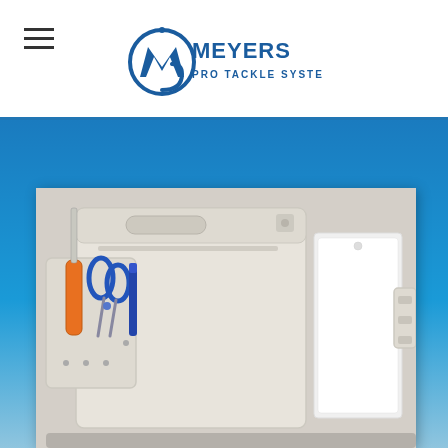Meyers Pro Tackle System
[Figure (photo): Meyers Pro Tackle System product photo showing a white plastic tackle box/organizer with orange-handled knife and blue-handled scissors in a side pocket, a white board panel on the right side, and additional accessories, photographed against a light background]